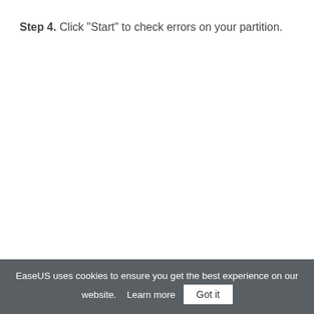Step 4. Click "Start" to check errors on your partition.
EaseUS uses cookies to ensure you get the best experience on our website.    Learn more    Got it